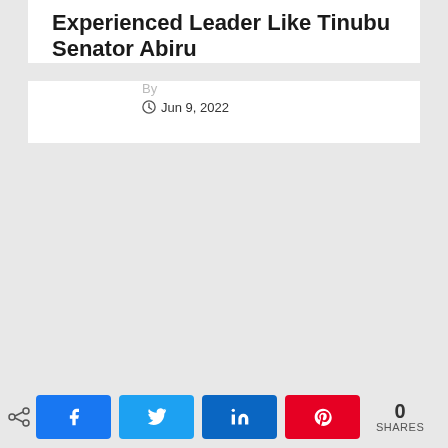Experienced Leader Like Tinubu Senator Abiru
By
Jun 9, 2022
[Figure (infographic): Social share bar with Facebook, Twitter, LinkedIn, and Pinterest buttons, and a share count of 0 SHARES]